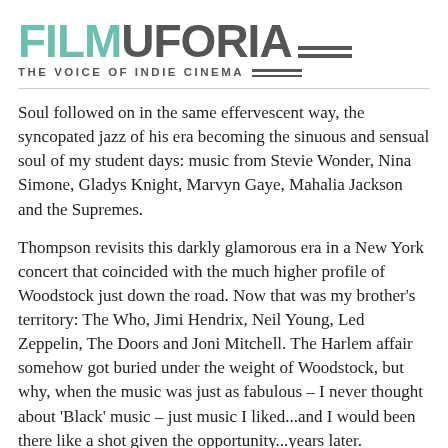FILMUFORIA — THE VOICE OF INDIE CINEMA
Soul followed on in the same effervescent way, the syncopated jazz of his era becoming the sinuous and sensual soul of my student days: music from Stevie Wonder, Nina Simone, Gladys Knight, Marvyn Gaye, Mahalia Jackson and the Supremes.
Thompson revisits this darkly glamorous era in a New York concert that coincided with the much higher profile of Woodstock just down the road. Now that was my brother's territory: The Who, Jimi Hendrix, Neil Young, Led Zeppelin, The Doors and Joni Mitchell. The Harlem affair somehow got buried under the weight of Woodstock, but why, when the music was just as fabulous – I never thought about 'Black' music – just music I liked...and I would been there like a shot given the opportunity...years later.
In Harlem's Mount Morris 300,000 – mostly Black- fans gathered to enjoy a series of free 'gigs' and Thompson has